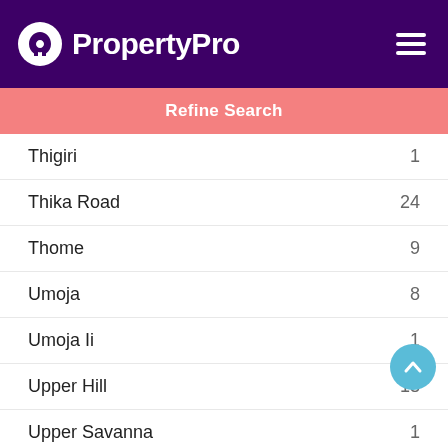PropertyPro
Refine Search
Thigiri 1
Thika Road 24
Thome 9
Umoja 8
Umoja Ii 1
Upper Hill 13
Upper Savanna 1
Utalii 1
Utawala 32
Uthiru 3
Uthiru Ruthimitu 6